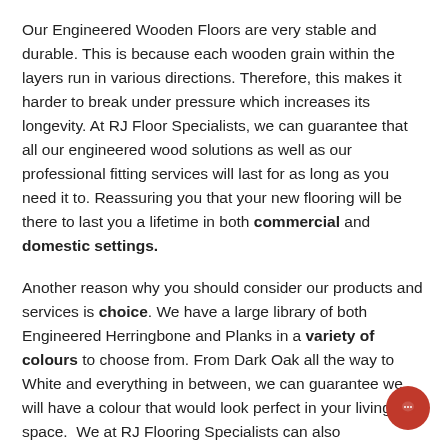Our Engineered Wooden Floors are very stable and durable. This is because each wooden grain within the layers run in various directions. Therefore, this makes it harder to break under pressure which increases its longevity. At RJ Floor Specialists, we can guarantee that all our engineered wood solutions as well as our professional fitting services will last for as long as you need it to. Reassuring you that your new flooring will be there to last you a lifetime in both commercial and domestic settings.
Another reason why you should consider our products and services is choice. We have a large library of both Engineered Herringbone and Planks in a variety of colours to choose from. From Dark Oak all the way to White and everything in between, we can guarantee we will have a colour that would look perfect in your living space.  We at RJ Flooring Specialists can also accommodate various sizing needs too. Our beautiful, high-quality oak planks can range in size from 600 – 2,400mm with at least 80% of them being 2,400mm long. Not to